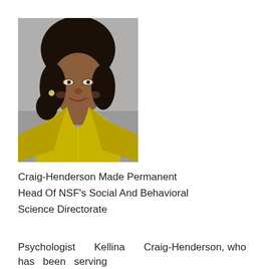[Figure (photo): Portrait photo of Kellina Craig-Henderson, a woman with dark hair wearing a yellow jacket, smiling at the camera against a grey background.]
Craig-Henderson Made Permanent Head Of NSF's Social And Behavioral Science Directorate
Psychologist Kellina Craig-Henderson, who has been serving